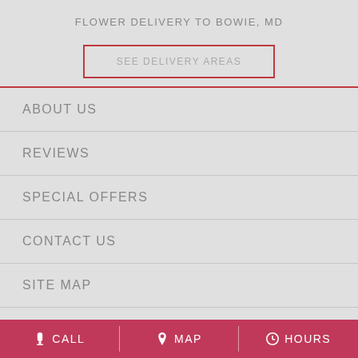FLOWER DELIVERY TO BOWIE, MD
SEE DELIVERY AREAS
ABOUT US
REVIEWS
SPECIAL OFFERS
CONTACT US
SITE MAP
[Figure (logo): Facebook, Google, and Instagram social media icons]
CALL   MAP   HOURS